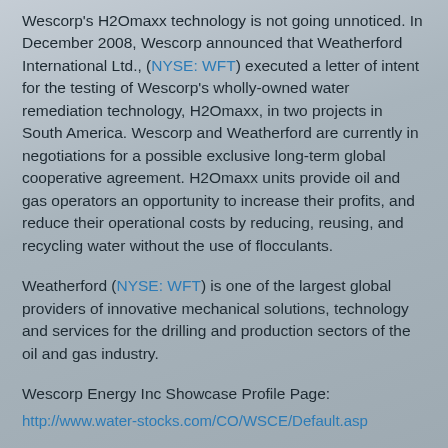Wescorp's H2Omaxx technology is not going unnoticed. In December 2008, Wescorp announced that Weatherford International Ltd., (NYSE: WFT) executed a letter of intent for the testing of Wescorp's wholly-owned water remediation technology, H2Omaxx, in two projects in South America. Wescorp and Weatherford are currently in negotiations for a possible exclusive long-term global cooperative agreement. H2Omaxx units provide oil and gas operators an opportunity to increase their profits, and reduce their operational costs by reducing, reusing, and recycling water without the use of flocculants.
Weatherford (NYSE: WFT) is one of the largest global providers of innovative mechanical solutions, technology and services for the drilling and production sectors of the oil and gas industry.
Wescorp Energy Inc Showcase Profile Page: http://www.water-stocks.com/CO/WSCE/Default.asp
Wescorp Energy Inc Company Website: http://www.wescorpenergy.com/